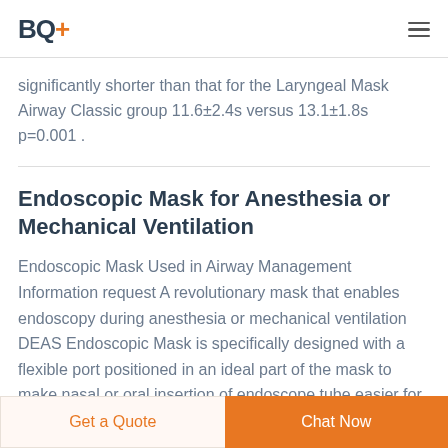BQ+
significantly shorter than that for the Laryngeal Mask Airway Classic group 11.6±2.4s versus 13.1±1.8s p=0.001 .
Endoscopic Mask for Anesthesia or Mechanical Ventilation
Endoscopic Mask Used in Airway Management Information request A revolutionary mask that enables endoscopy during anesthesia or mechanical ventilation DEAS Endoscopic Mask is specifically designed with a flexible port positioned in an ideal part of the mask to make nasal or oral insertion of endoscope tube easier for clinicians.